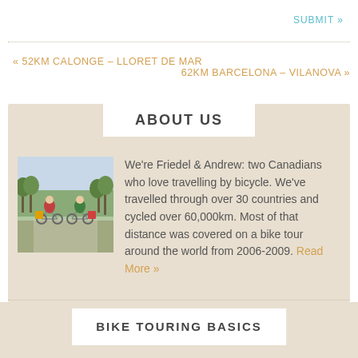SUBMIT »
« 52KM CALONGE – LLORET DE MAR
62KM BARCELONA – VILANOVA »
ABOUT US
[Figure (photo): Two cyclists with loaded touring bikes riding on a path through a park or forest, wearing outdoor gear. One has a red jacket, the other a green jacket.]
We're Friedel & Andrew: two Canadians who love travelling by bicycle. We've travelled through over 30 countries and cycled over 60,000km. Most of that distance was covered on a bike tour around the world from 2006-2009. Read More »
BIKE TOURING BASICS